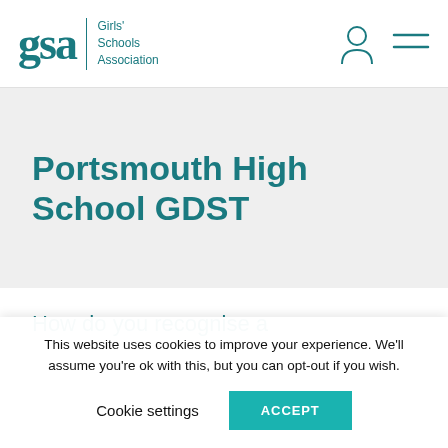gsa | Girls' Schools Association
Portsmouth High School GDST
How do you recognise a
This website uses cookies to improve your experience. We'll assume you're ok with this, but you can opt-out if you wish.
Cookie settings   ACCEPT